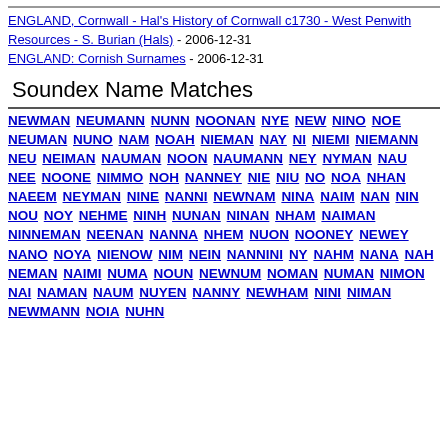ENGLAND, Cornwall - Hal's History of Cornwall c1730 - West Penwith Resources - S. Burian (Hals) - 2006-12-31
ENGLAND: Cornish Surnames - 2006-12-31
Soundex Name Matches
NEWMAN NEUMANN NUNN NOONAN NYE NEW NINO NOE NEUMAN NUNO NAM NOAH NIEMAN NAY NI NIEMI NIEMANN NEU NEIMAN NAUMAN NOON NAUMANN NEY NYMAN NAU NEE NOONE NIMMO NOH NANNEY NIE NIU NO NOA NHAN NAEEM NEYMAN NINE NANNI NEWNAM NINA NAIM NAN NIN NOU NOY NEHME NINH NUNAN NINAN NHAM NAIMAN NINNEMAN NEENAN NANNA NHEM NUON NOONEY NEWEY NANO NOYA NIENOW NIM NEIN NANNINI NY NAHM NANA NAH NEMAN NAIMI NUMA NOUN NEWNUM NOMAN NUMAN NIMON NAI NAMAN NAUM NUYEN NANNY NEWHAM NINI NIMAN NEWMANN NOIA NUHN